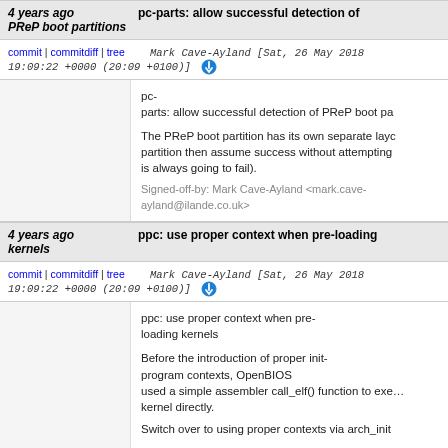4 years ago  pc-parts: allow successful detection of PReP boot partitions
commit | commitdiff | tree   Mark Cave-Ayland [Sat, 26 May 2018 19:09:22 +0000 (20:09 +0100)]
pc-parts: allow successful detection of PReP boot pa…

The PReP boot partition has its own separate layo… partition then assume success without attempting… is always going to fail).

Signed-off-by: Mark Cave-Ayland <mark.cave-ayland@ilande.co.uk>
4 years ago  ppc: use proper context when pre-loading kernels
commit | commitdiff | tree   Mark Cave-Ayland [Sat, 26 May 2018 19:09:22 +0000 (20:09 +0100)]
ppc: use proper context when pre-loading kernels

Before the introduction of proper init-program contexts, OpenBIOS
used a simple assembler call_elf() function to exe… kernel directly.

Switch over to using proper contexts via arch_init…